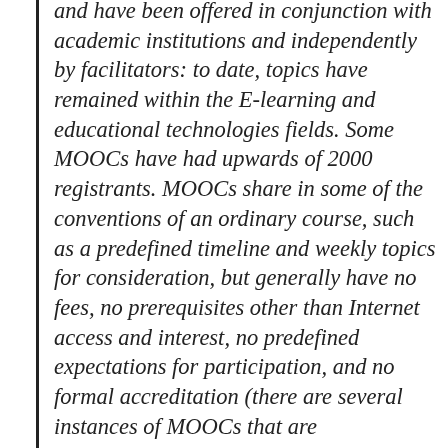and have been offered in conjunction with academic institutions and independently by facilitators: to date, topics have remained within the E-learning and educational technologies fields. Some MOOCs have had upwards of 2000 registrants. MOOCs share in some of the conventions of an ordinary course, such as a predefined timeline and weekly topics for consideration, but generally have no fees, no prerequisites other than Internet access and interest, no predefined expectations for participation, and no formal accreditation (there are several instances of MOOCs that are